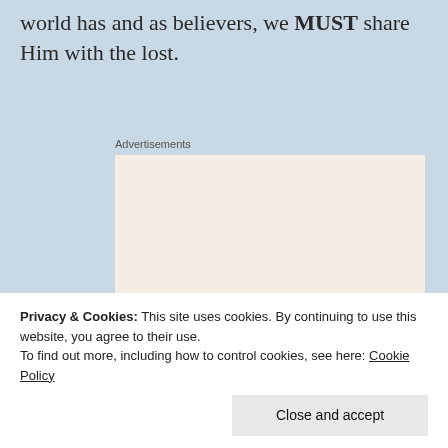world has and as believers, we MUST share Him with the lost.
Advertisements
[Figure (infographic): Advertisement banner with text 'Need a website quickly – and on a budget? Let us build it for you' with a 'Let's get started' button and a circular photo of hands working on a laptop.]
Privacy & Cookies: This site uses cookies. By continuing to use this website, you agree to their use. To find out more, including how to control cookies, see here: Cookie Policy
Close and accept
women. However, promiscuous behavior is severely